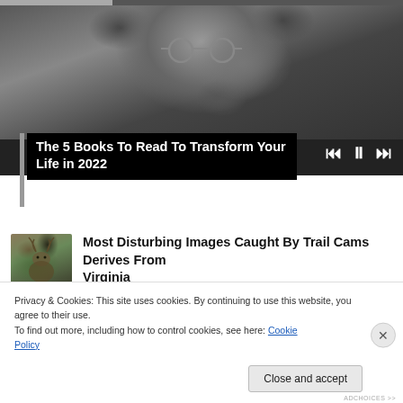[Figure (screenshot): Black and white photo of a bearded man with glasses, shown as a media player with playback controls and progress bar]
The 5 Books To Read To Transform Your Life in 2022
[Figure (photo): Small thumbnail of a deer or animal caught on trail cam, dark background]
Most Disturbing Images Caught By Trail Cams Derives From Virginia
Privacy & Cookies: This site uses cookies. By continuing to use this website, you agree to their use.
To find out more, including how to control cookies, see here: Cookie Policy
Close and accept